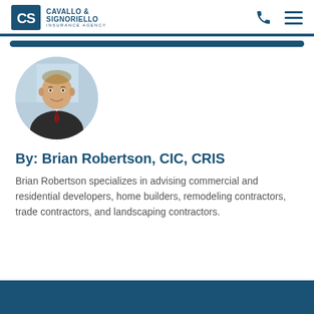Cavallo & Signoriello Insurance Agency
[Figure (photo): Circular headshot of Brian Robertson, a man in a dark suit with a striped tie, smiling, photographed in a professional setting.]
By: Brian Robertson, CIC, CRIS
Brian Robertson specializes in advising commercial and residential developers, home builders, remodeling contractors, trade contractors, and landscaping contractors.